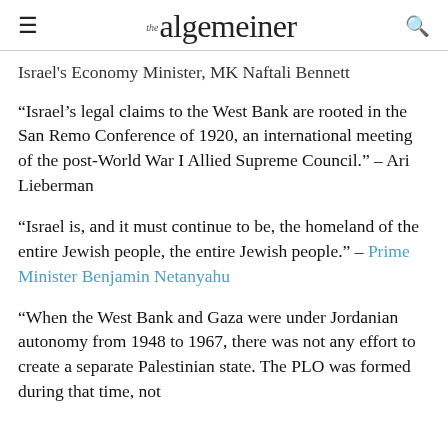the algemeiner
Israel's Economy Minister, MK Naftali Bennett
“Israel’s legal claims to the West Bank are rooted in the San Remo Conference of 1920, an international meeting of the post-World War I Allied Supreme Council.” – Ari Lieberman
“Israel is, and it must continue to be, the homeland of the entire Jewish people, the entire Jewish people.” – Prime Minister Benjamin Netanyahu
“When the West Bank and Gaza were under Jordanian autonomy from 1948 to 1967, there was not any effort to create a separate Palestinian state. The PLO was formed during that time, not for the purpose of creating a Palestinian State, and